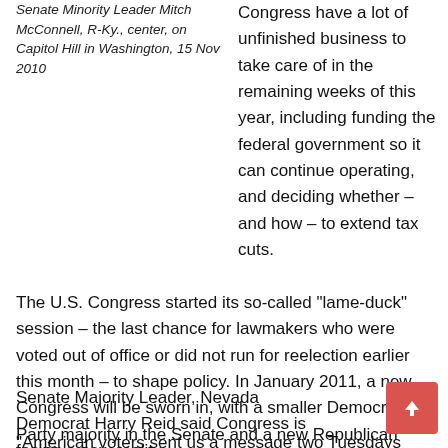Senate Minority Leader Mitch McConnell, R-Ky., center, on Capitol Hill in Washington, 15 Nov 2010
Congress have a lot of unfinished business to take care of in the remaining weeks of this year, including funding the federal government so it can continue operating, and deciding whether – and how – to extend tax cuts.
The U.S. Congress started its so-called “lame-duck” session – the last chance for lawmakers who were voted out of office or did not run for reelection earlier this month – to shape policy. In January 2011, a new Congress will be sworn in, with a smaller Democratic Party majority in the Senate and a new Republican majority in the House of Representatives.
Senate Majority Leader, Nevada Democrat Harry Reid said Congress is facing a new reality.
“American voters sent us a message two Tuesdays ago,” he